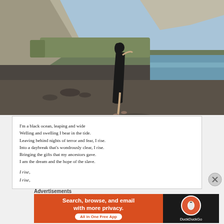[Figure (photo): A woman in a black dress walking on a dark sandy beach with rocky cliffs in the background and blue sky/ocean visible.]
I'm a black ocean, leaping and wide
Welling and swelling I bear in the tide.
Leaving behind nights of terror and fear, I rise.
Into a daybreak that's wondrously clear, I rise.
Bringing the gifts that my ancestors gave.
I am the dream and the hope of the slave.

I rise,

I rise,
Advertisements
[Figure (screenshot): DuckDuckGo advertisement banner: 'Search, browse, and email with more privacy. All in One Free App' on orange background with DuckDuckGo logo on dark background.]